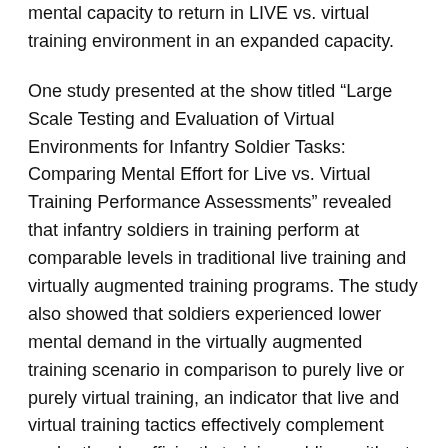mental capacity to return in LIVE vs. virtual training environment in an expanded capacity.
One study presented at the show titled “Large Scale Testing and Evaluation of Virtual Environments for Infantry Soldier Tasks: Comparing Mental Effort for Live vs. Virtual Training Performance Assessments” revealed that infantry soldiers in training perform at comparable levels in traditional live training and virtually augmented training programs. The study also showed that soldiers experienced lower mental demand in the virtually augmented training scenario in comparison to purely live or purely virtual training, an indicator that live and virtual training tactics effectively complement each other by efficiently training soldiers without mentally exhausting them.
Dr. Douglas Maxwell from the U.S. Army Research Lab performed the study, and Lauren Reinerman-Jones from the